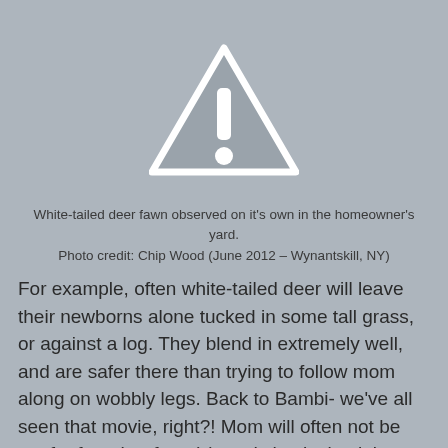[Figure (illustration): Warning triangle icon with exclamation mark, white outline triangle on gray background with white exclamation point inside]
White-tailed deer fawn observed on it's own in the homeowner's yard. Photo credit: Chip Wood (June 2012 – Wynantskill, NY)
For example, often white-tailed deer will leave their newborns alone tucked in some tall grass, or against a log. They blend in extremely well, and are safer there than trying to follow mom along on wobbly legs. Back to Bambi- we've all seen that movie, right?! Mom will often not be too far from her fawn(s), and checks back in often to nurse. A sympathetic hiker happens upon the fawn, and picks it up (they'll let you, they do not run), and brings it home to try and get it to a rehabilitator. This is essentially kid napping! That